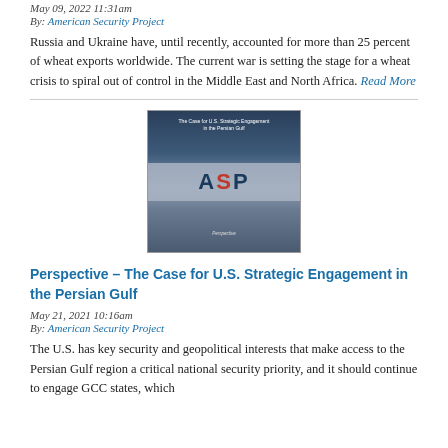May 09, 2022 11:31am
By: American Security Project
Russia and Ukraine have, until recently, accounted for more than 25 percent of wheat exports worldwide. The current war is setting the stage for a wheat crisis to spiral out of control in the Middle East and North Africa. Read More
[Figure (illustration): Cover image of ASP Perspective report titled 'The Case for U.S. Strategic Engagement in the Persian Gulf', showing a naval vessel background with ASP logo on a grey band and 'Perspective' label at the bottom.]
Perspective – The Case for U.S. Strategic Engagement in the Persian Gulf
May 21, 2021 10:16am
By: American Security Project
The U.S. has key security and geopolitical interests that make access to the Persian Gulf region a critical national security priority, and it should continue to engage GCC states, which